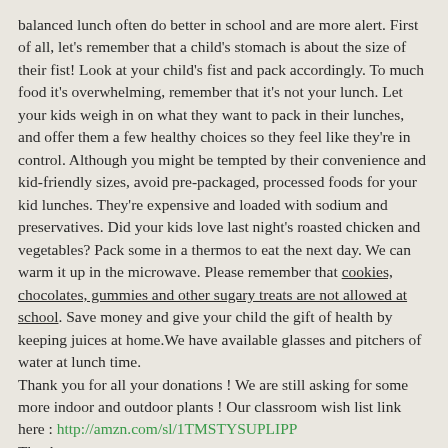balanced lunch often do better in school and are more alert. First of all, let's remember that a child's stomach is about the size of their fist! Look at your child's fist and pack accordingly. To much food it's overwhelming, remember that it's not your lunch. Let your kids weigh in on what they want to pack in their lunches, and offer them a few healthy choices so they feel like they're in control. Although you might be tempted by their convenience and kid-friendly sizes, avoid pre-packaged, processed foods for your kid lunches. They're expensive and loaded with sodium and preservatives. Did your kids love last night's roasted chicken and vegetables? Pack some in a thermos to eat the next day. We can warm it up in the microwave. Please remember that cookies, chocolates, gummies and other sugary treats are not allowed at school. Save money and give your child the gift of health by keeping juices at home.We have available glasses and pitchers of water at lunch time.
Thank you for all your donations ! We are still asking for some more indoor and outdoor plants ! Our classroom wish list link here : http://amzn.com/sl/1TMSTYSUPLIPP
Thank you